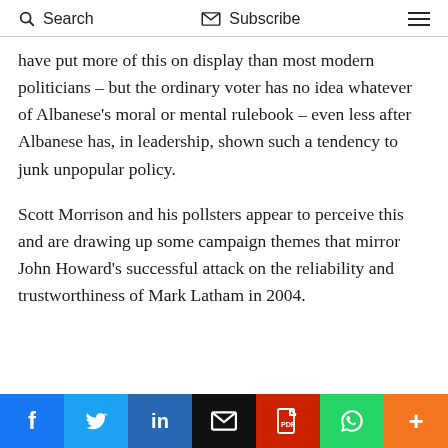Search  Subscribe  ☰
have put more of this on display than most modern politicians – but the ordinary voter has no idea whatever of Albanese's moral or mental rulebook – even less after Albanese has, in leadership, shown such a tendency to junk unpopular policy.
Scott Morrison and his pollsters appear to perceive this and are drawing up some campaign themes that mirror John Howard's successful attack on the reliability and trustworthiness of Mark Latham in 2004.